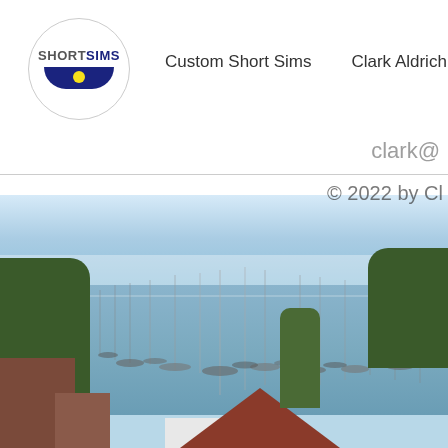[Figure (logo): ShortSims circular logo with 'SHORTSIMS' text and dark blue wave/bowl shape at bottom with yellow dot]
Custom Short Sims    Clark Aldrich
clark@
© 2022 by Cl
[Figure (photo): Coastal harbor scene with many sailboats moored in calm water, trees on left and right, buildings in foreground, hazy blue sky]